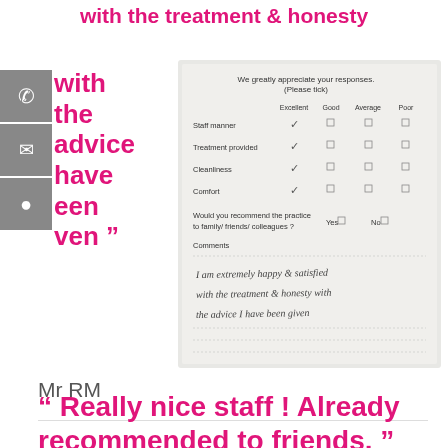with the treatment & honesty
with
the
advice
have
een
ven ”
[Figure (photo): Photo of a patient feedback form with checkboxes for Staff manner, Treatment provided, Cleanliness, Comfort (all marked Excellent). Would you recommend: Yes/No. Handwritten comment: I am extremely happy & satisfied with the treatment & honesty with the advice I have been given.]
Mr RM
“ Really nice staff ! Already recommended to friends. ”